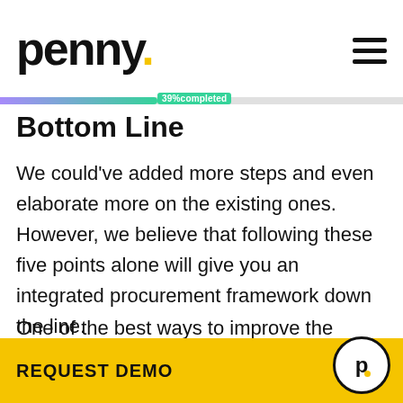penny.
[Figure (infographic): Progress bar showing 39% completed, with gradient from purple to green]
Bottom Line
We could've added more steps and even elaborate more on the existing ones. However, we believe that following these five points alone will give you an integrated procurement framework down the line.
One of the best ways to improve the overall efficiency of your procurement department is
REQUEST DEMO